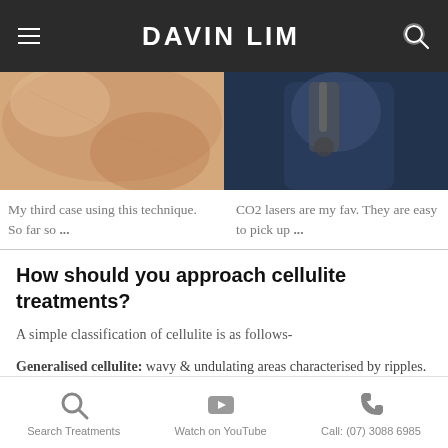DAVIN LIM
[Figure (photo): Close-up of a person's cheek/face showing skin texture]
[Figure (photo): Person in dark clothing holding a laser/medical device]
My third case using this technique. So far so ...
CO2 lasers are my fav. They are easy to pick up ...
How should you approach cellulite treatments?
A simple classification of cellulite is as follows-
Generalised cellulite: wavy & undulating areas characterised by ripples. This form of cellulite responds to energy devices including radiofrequency, PEMF (pulsed electromagnetic
Search Treatments   Watch on YouTube   Call: (07) 3088 6985